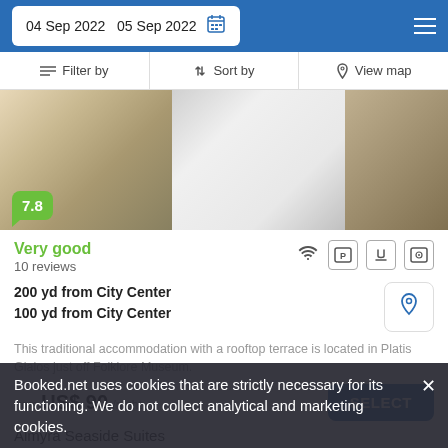04 Sep 2022  05 Sep 2022
Filter by   Sort by   View map
[Figure (photo): Hotel bedroom photo showing bed with pillows, a lamp, a glass door, and side furniture]
7.8
Very good
10 reviews
200 yd from City Center
100 yd from City Center
This traditional accommodation with a rooftop terrace is located in Platis Gialos just off Folklore Museum.
from  US$ 90/night   SELECT
Booked.net uses cookies that are strictly necessary for its functioning. We do not collect analytical and marketing cookies.
Almyra Seaside Suites